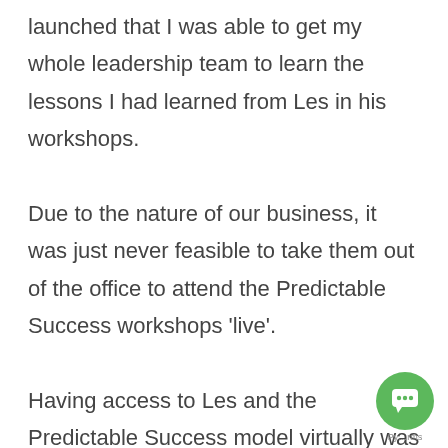launched that I was able to get my whole leadership team to learn the lessons I had learned from Les in his workshops. Due to the nature of our business, it was just never feasible to take them out of the office to attend the Predictable Success workshops 'live'. Having access to Les and the Predictable Success model virtually was a dream come true! My leadership team was able to self-pace their learning experience and align with my vision because they, too, became believers when hearing it first-hand versus through me. As a result of The Predictable Success
[Figure (other): Green circular chat/support button icon in the bottom-right corner with a speech bubble icon and label text 'Py...rms']